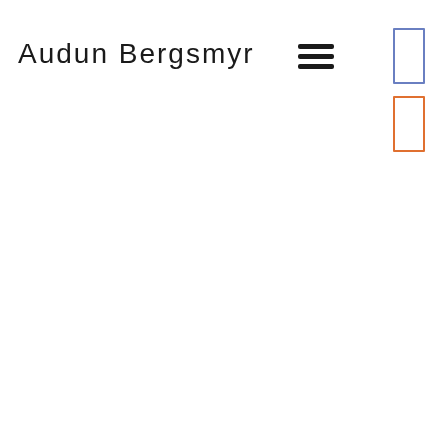Audun Bergsmyr
[Figure (other): Hamburger menu icon (three horizontal black lines)]
[Figure (other): Two small rectangles: one with blue border (top) and one with orange border (bottom), positioned vertically on the right side]